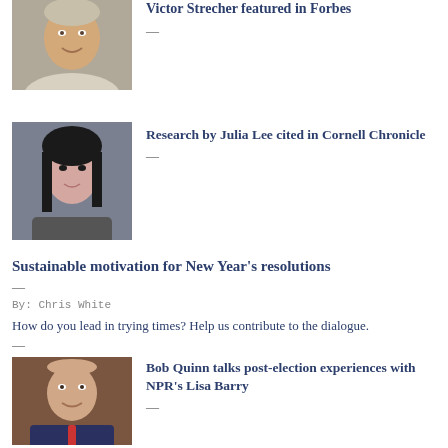[Figure (photo): Headshot of Victor Strecher, middle-aged man smiling]
Victor Strecher featured in Forbes
[Figure (photo): Headshot of Julia Lee, young Asian woman]
Research by Julia Lee cited in Cornell Chronicle
Sustainable motivation for New Year's resolutions
By: Chris White
How do you lead in trying times? Help us contribute to the dialogue.
[Figure (photo): Headshot of Bob Quinn, older bald man in suit with tie]
Bob Quinn talks post-election experiences with NPR's Lisa Barry